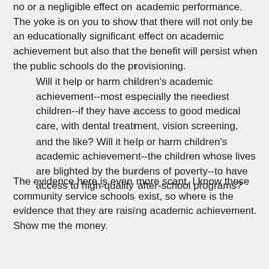no or a negligible effect on academic performance. The yoke is on you to show that there will not only be an educationally significant effect on academic achievement but also that the benefit will persist when the public schools do the provisioning.
Will it help or harm children's academic achievement--most especially the neediest children--if they have access to good medical care, with dental treatment, vision screening, and the like? Will it help or harm children's academic achievement--the children whose lives are blighted by the burdens of poverty--to have access to high-quality after-school programs?
The evidence here is even more scant. I know these community service schools exist, so where is the evidence that they are raising academic achievement. Show me the money.